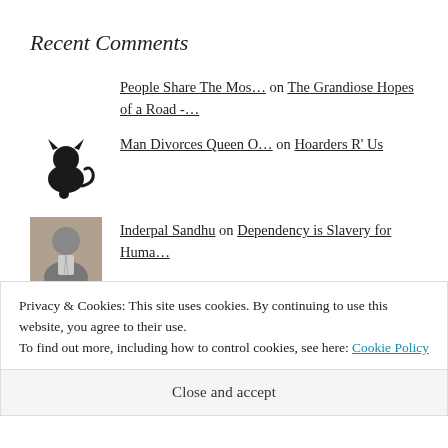Recent Comments
People Share The Mos… on The Grandiose Hopes of a Road -…
Man Divorces Queen O… on Hoarders R' Us
Inderpal Sandhu on Dependency is Slavery for Huma…
Tina on Dependency is Slavery for Huma…
Privacy & Cookies: This site uses cookies. By continuing to use this website, you agree to their use.
To find out more, including how to control cookies, see here: Cookie Policy
Close and accept